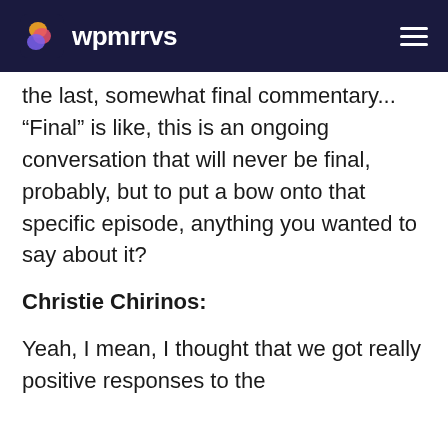wpmrrvs
the last, somewhat final commentary... “Final” is like, this is an ongoing conversation that will never be final, probably, but to put a bow onto that specific episode, anything you wanted to say about it?
Christie Chirinos:
Yeah, I mean, I thought that we got really positive responses to the